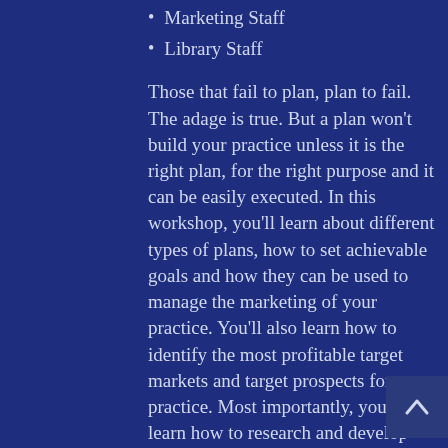Marketing Staff
Library Staff
Those that fail to plan, plan to fail. The adage is true. But a plan won't build your practice unless it is the right plan, for the right purpose and it can be easily executed. In this workshop, you'll learn about different types of plans, how to set achievable goals and how they can be used to manage the marketing of your practice. You'll also learn how to identify the most profitable target markets and target prospects for your practice. Most importantly, you'll learn how to research and develop strategy and tactics for different types of plans including practice